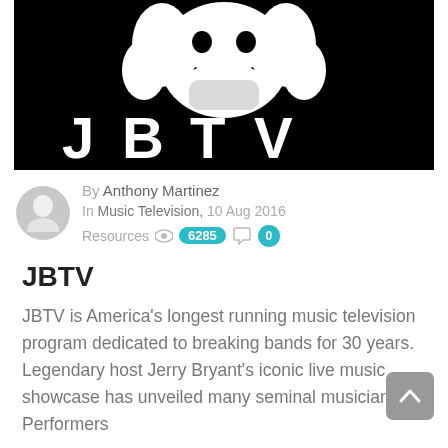[Figure (logo): JBTV logo — black and white graphic of a cartoon face with 'JBTV' lettering below]
By Anthony Martinez
In Music Television, 10 Aug 2016
Resources 👁 6285  💬 0
JBTV
JBTV is America's longest running music television program dedicated to breaking bands for 30 years. Legendary host Jerry Bryant's iconic live music showcase has unveiled many seminal musicians. Performers